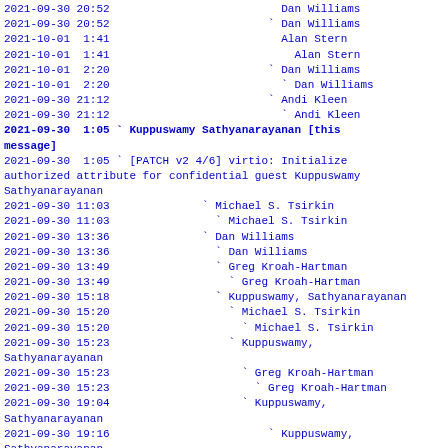2021-09-30 20:52                          Dan Williams
2021-09-30 20:52                        ` Dan Williams
2021-10-01  1:41                          Alan Stern
2021-10-01  1:41                            Alan Stern
2021-10-01  2:20                          ` Dan Williams
2021-10-01  2:20                            ` Dan Williams
2021-09-30 21:12                        ` Andi Kleen
2021-09-30 21:12                          ` Andi Kleen
2021-09-30  1:05 ` Kuppuswamy Sathyanarayanan [this message]
2021-09-30  1:05 ` [PATCH v2 4/6] virtio: Initialize authorized attribute for confidential guest Kuppuswamy Sathyanarayanan
2021-09-30 11:03              ` Michael S. Tsirkin
2021-09-30 11:03                ` Michael S. Tsirkin
2021-09-30 13:36              ` Dan Williams
2021-09-30 13:36                ` Dan Williams
2021-09-30 13:49                ` Greg Kroah-Hartman
2021-09-30 13:49                  ` Greg Kroah-Hartman
2021-09-30 15:18                ` Kuppuswamy, Sathyanarayanan
2021-09-30 15:20                  ` Michael S. Tsirkin
2021-09-30 15:20                    ` Michael S. Tsirkin
2021-09-30 15:23                  ` Kuppuswamy,
Sathyanarayanan
2021-09-30 15:23                    ` Greg Kroah-Hartman
2021-09-30 15:23                      ` Greg Kroah-Hartman
2021-09-30 19:04                    ` Kuppuswamy,
Sathyanarayanan
2021-09-30 19:16                        ` Kuppuswamy,
Sathyanarayanan
2021-09-30 19:22                              ` Andi Kleen